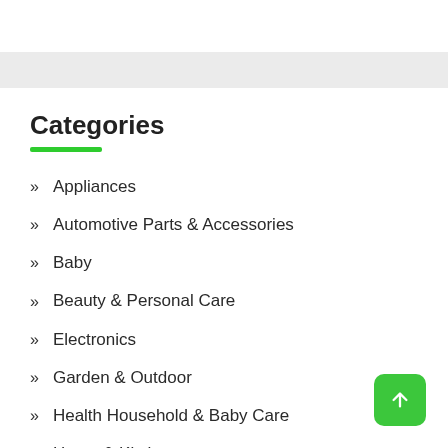Categories
Appliances
Automotive Parts & Accessories
Baby
Beauty & Personal Care
Electronics
Garden & Outdoor
Health Household & Baby Care
Home & Kitchen